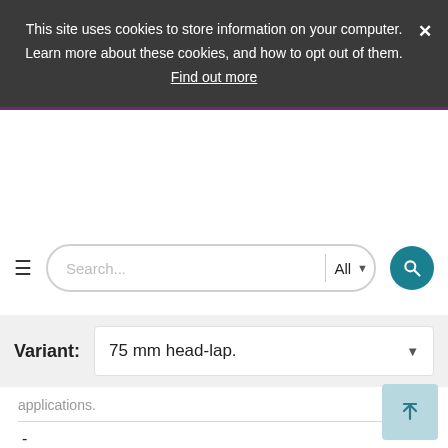This site uses cookies to store information on your computer. Learn more about these cookies, and how to opt out of them. Find out more
[Figure (screenshot): Search bar with hamburger menu icon, text input placeholder 'Search...', 'All' dropdown selector, and teal circular search button]
Variant: 75 mm head-lap.
applications.
-
[Figure (other): Scroll-to-top button with upward arrow icon, light blue background]